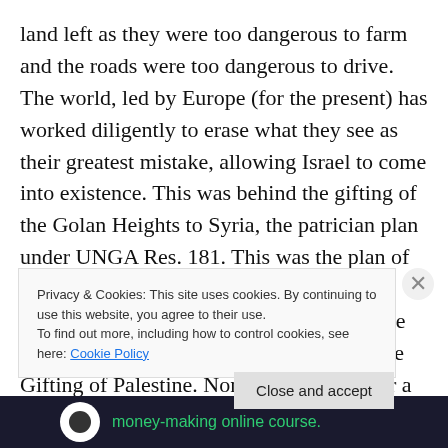land left as they were too dangerous to farm and the roads were too dangerous to drive. The world, led by Europe (for the present) has worked diligently to erase what they see as their greatest mistake, allowing Israel to come into existence. This was behind the gifting of the Golan Heights to Syria, the patrician plan under UNGA Res. 181. This was the plan of the Gaza Disengagement and it will be the plan for the Shomron disaster which will be called the West Bank Disengagement or the Gifting of Palestine. None of this will alter a thing as Abbas will continue to pay his people to murder Jews. Terrorism will continue once
Privacy & Cookies: This site uses cookies. By continuing to use this website, you agree to their use.
To find out more, including how to control cookies, see here: Cookie Policy
Close and accept
money-making online course.